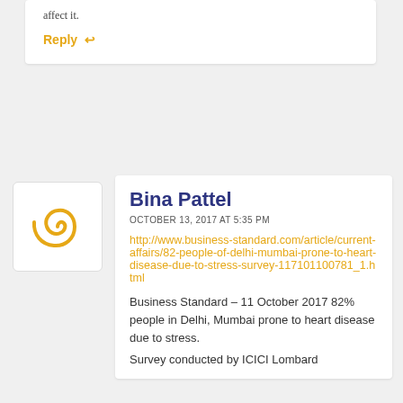affect it.
Reply ↩
[Figure (illustration): Spiral/swirl avatar icon in orange on white background with rounded rectangle border]
Bina Pattel
OCTOBER 13, 2017 AT 5:35 PM
http://www.business-standard.com/article/current-affairs/82-people-of-delhi-mumbai-prone-to-heart-disease-due-to-stress-survey-117101100781_1.html
Business Standard – 11 October 2017 82% people in Delhi, Mumbai prone to heart disease due to stress.
Survey conducted by ICICI Lombard